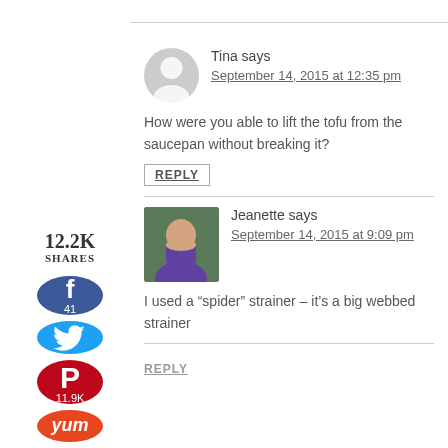[Figure (infographic): Social sharing sidebar with share count 12.2K, Facebook button (41), Twitter button, Pinterest button (11.9K), and Yummly button]
Tina says
September 14, 2015 at 12:35 pm
How were you able to lift the tofu from the saucepan without breaking it?
REPLY
Jeanette says
September 14, 2015 at 9:09 pm
I used a “spider” strainer – it’s a big webbed strainer
REPLY